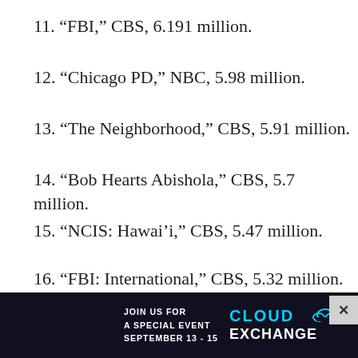11. “FBI,” CBS, 6.191 million.
12. “Chicago PD,” NBC, 5.98 million.
13. “The Neighborhood,” CBS, 5.91 million.
14. “Bob Hearts Abishola,” CBS, 5.7 million.
15. “NCIS: Hawai’i,” CBS, 5.47 million.
16. “FBI: International,” CBS, 5.32 million.
17. “60 Minutes,” CBS, 5.31 million.
18. Special Report: Biden in Texas, CBS, 5.26 million.
[Figure (screenshot): Advertisement overlay: dark background with text 'JOIN US FOR A SPECIAL EVENT SEPTEMBER 13-15' and 'CLOUD EXCHANGE' logo on right. Close button (x) at top-right of ad.]